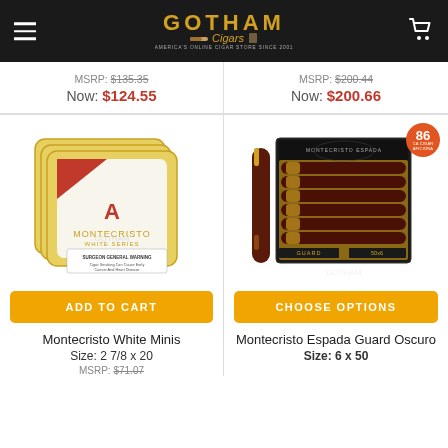[Figure (logo): Gotham Cigars logo with navigation header, hamburger menu on left, cart icon on right]
MSRP: $135.35
Now: $124.55
MSRP: $200.44
Now: $200.66
[Figure (photo): Montecristo White Minis cigar tins stacked]
[Figure (photo): Montecristo Espada Guard Oscuro cigar box open with single cigar, rated 86]
ADD TO CART
CHOOSE OPTIONS
Montecristo White Minis
Size: 2 7/8 x 20
MSRP: $71.07
Montecristo Espada Guard Oscuro
Size: 6 x 50